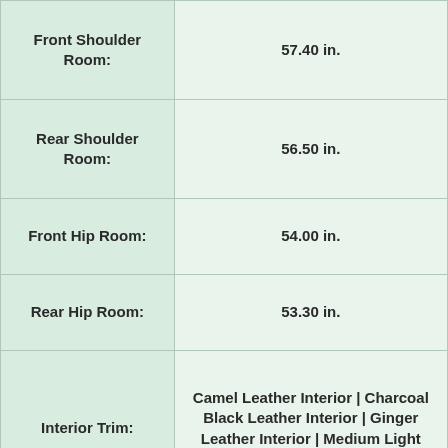| Specification | Value |
| --- | --- |
| Front Shoulder Room: | 57.40 in. |
| Rear Shoulder Room: | 56.50 in. |
| Front Hip Room: | 54.00 in. |
| Rear Hip Room: | 53.30 in. |
| Interior Trim: | Camel Leather Interior | Charcoal Black Leather Interior | Ginger Leather Interior | Medium Light Stone Leather Interior |
| Exterior Color: | Black | Blue Flame Metallic | Cinnamon Metallic | Ingot Silver Metallic | Red Candy Metallic | Steel Blue Metallic | Sterling Gray |